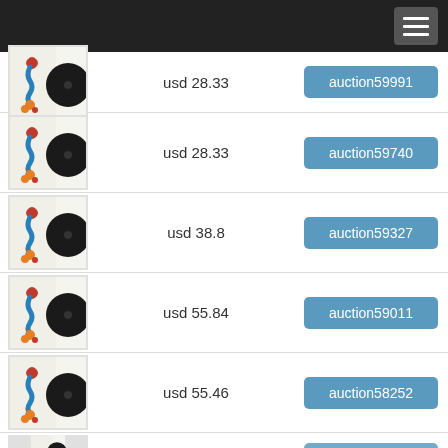[Figure (photo): Vinyl record with illustrated cover showing a snake/worm design in teal, red, and orange on white background - partial listing row]
usd 28.33
auction59991
[Figure (photo): Vinyl record with illustrated cover showing a snake/worm design in teal, red, and orange on white background]
usd 28.33
auction59740
[Figure (photo): Vinyl record with illustrated cover showing a snake/worm design in teal, red, and orange on white background]
usd 38.8
auction59327
[Figure (photo): Vinyl record with illustrated cover showing a snake/worm design in teal, red, and orange on white background]
usd 55.84
auction59011
[Figure (photo): Vinyl record with illustrated cover showing a snake/worm design in teal, red, and orange on white background]
usd 55.46
auction58252
[Figure (photo): Vinyl record with illustrated cover - partial bottom row]